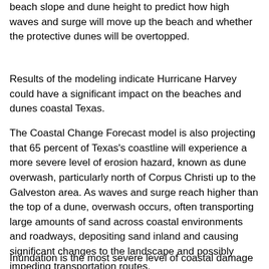beach slope and dune height to predict how high waves and surge will move up the beach and whether the protective dunes will be overtopped.
Results of the modeling indicate Hurricane Harvey could have a significant impact on the beaches and dunes coastal Texas.
The Coastal Change Forecast model is also projecting that 65 percent of Texas's coastline will experience a more severe level of erosion hazard, known as dune overwash, particularly north of Corpus Christi up to the Galveston area. As waves and surge reach higher than the top of a dune, overwash occurs, often transporting large amounts of sand across coastal environments and roadways, depositing sand inland and causing significant changes to the landscape and possibly impeding transportation routes.
Inundation is the most severe level of coastal damage from a